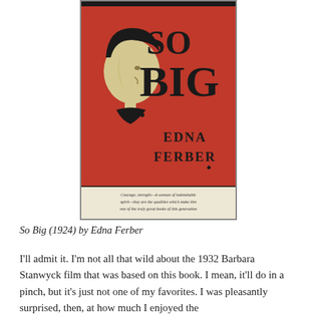[Figure (illustration): Book cover of 'So Big' by Edna Ferber (1924). Red cover with a black silhouette profile of a woman's face on the left. Large bold text reads 'SO BIG' and below that 'EDNA FERBER'. A thick black bar at the top. At the bottom, a cream-colored strip with small italic text: 'Courage, strength—A woman of indomitable spirit—they are the qualities which make this one of the truly great books of this generation.']
So Big (1924) by Edna Ferber
I'll admit it. I'm not all that wild about the 1932 Barbara Stanwyck film that was based on this book. I mean, it'll do in a pinch, but it's just not one of my favorites. I was pleasantly surprised, then, at how much I enjoyed the